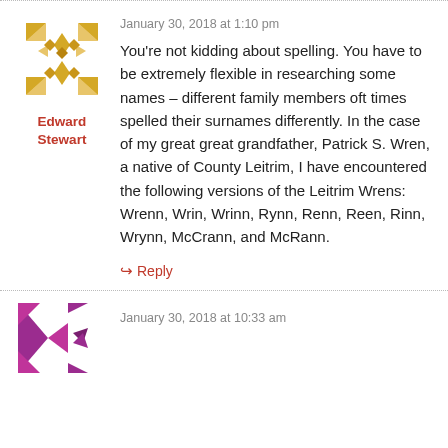[Figure (illustration): Decorative avatar icon with geometric pattern in gold/yellow tones]
Edward Stewart
January 30, 2018 at 1:10 pm
You're not kidding about spelling. You have to be extremely flexible in researching some names – different family members oft times spelled their surnames differently. In the case of my great great grandfather, Patrick S. Wren, a native of County Leitrim, I have encountered the following versions of the Leitrim Wrens: Wrenn, Wrin, Wrinn, Rynn, Renn, Reen, Rinn, Wrynn, McCrann, and McRann.
↳ Reply
[Figure (illustration): Decorative avatar icon with geometric pattern in purple/magenta tones]
January 30, 2018 at 10:33 am